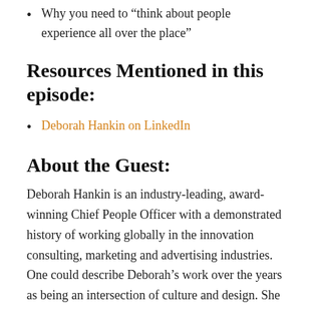Why you need to “think about people experience all over the place”
Resources Mentioned in this episode:
Deborah Hankin on LinkedIn
About the Guest:
Deborah Hankin is an industry-leading, award-winning Chief People Officer with a demonstrated history of working globally in the innovation consulting, marketing and advertising industries. One could describe Deborah’s work over the years as being an intersection of culture and design. She